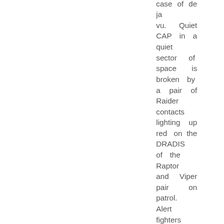case of de ja vu. Quiet CAP in a quiet sector of space is broken by a pair of Raider contacts lighting up red on the DRADIS of the Raptor and Viper pair on patrol. Alert fighters are ordered to launch and are getting in the air now. CIC has ordered the ship's jump engines spun up, but they'll